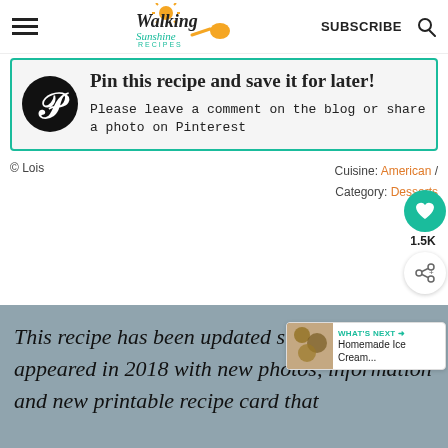Walking Sunshine Recipes — SUBSCRIBE
Pin this recipe and save it for later! Please leave a comment on the blog or share a photo on Pinterest
© Lois    Cuisine: American / Category: Desserts
This recipe has been updated since it first appeared in 2018 with new photos, information and new printable recipe card that